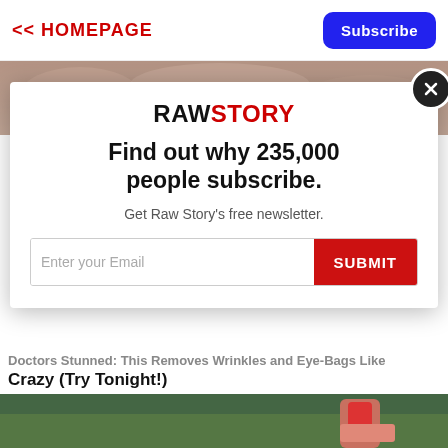<< HOMEPAGE
Subscribe
[Figure (screenshot): Background image strip showing textured surface]
[Figure (infographic): Raw Story newsletter subscription modal with logo, headline 'Find out why 235,000 people subscribe.', subtext 'Get Raw Story's free newsletter.', email input and SUBMIT button, close button]
Doctors Stunned: This Removes Wrinkles and Eye-Bags Like Crazy (Try Tonight!)
[Figure (photo): Bottom image strip showing green background with hand holding red object]